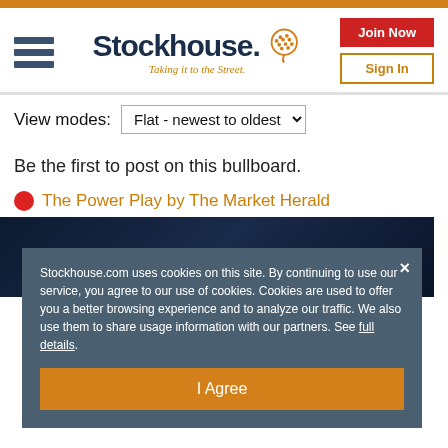[Figure (logo): Stockhouse logo with hamburger menu, logo text and icon, tagline 'Taking it to the Street.', Join Now and Sign In buttons]
View modes: Flat - newest to oldest
Be the first to post on this bullboard.
The Power Play by The Market Herald
[Figure (screenshot): Dark blue video preview area for The Power Play by The Market Herald]
Stockhouse.com uses cookies on this site. By continuing to use our service, you agree to our use of cookies. Cookies are used to offer you a better browsing experience and to analyze our traffic. We also use them to share usage information with our partners. See full details.
I Agree